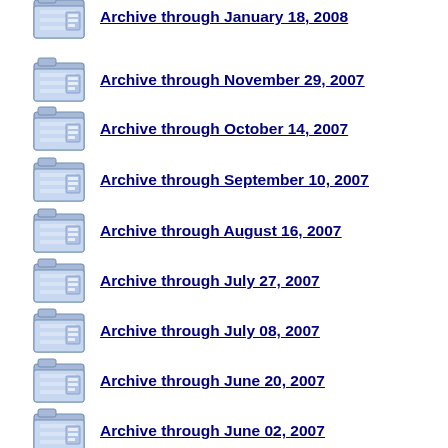Archive through January 18, 2008
Archive through November 29, 2007
Archive through October 14, 2007
Archive through September 10, 2007
Archive through August 16, 2007
Archive through July 27, 2007
Archive through July 08, 2007
Archive through June 20, 2007
Archive through June 02, 2007